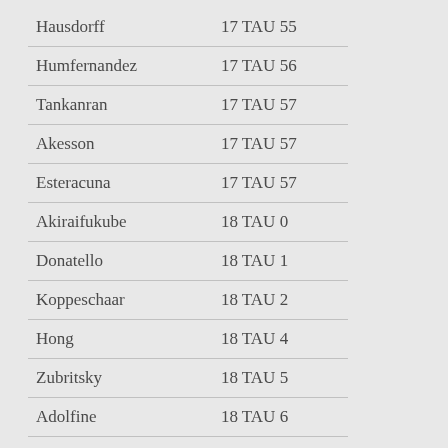| Name | Position |
| --- | --- |
| Hausdorff | 17 TAU 55 |
| Humfernandez | 17 TAU 56 |
| Tankanran | 17 TAU 57 |
| Akesson | 17 TAU 57 |
| Esteracuna | 17 TAU 57 |
| Akiraifukube | 18 TAU 0 |
| Donatello | 18 TAU 1 |
| Koppeschaar | 18 TAU 2 |
| Hong | 18 TAU 4 |
| Zubritsky | 18 TAU 5 |
| Adolfine | 18 TAU 6 |
| Davidthompson | 18 TAU 10 |
| Wangler | 18 TAU 13 |
| Toulouse-Lautrec | 18 TAU 13 |
| Newburn | 18 TAU 13 |